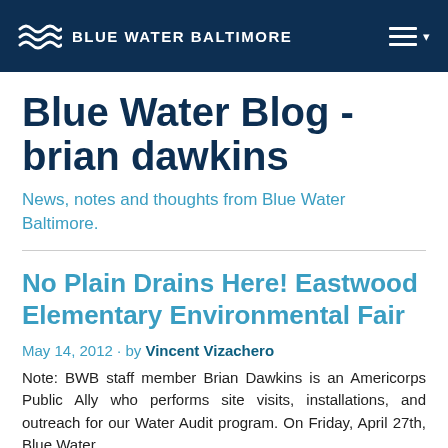BLUE WATER BALTIMORE
Blue Water Blog - brian dawkins
News, notes and thoughts from Blue Water Baltimore.
No Plain Drains Here! Eastwood Elementary Environmental Fair
May 14, 2012 · by Vincent Vizachero
Note: BWB staff member Brian Dawkins is an Americorps Public Ally who performs site visits, installations, and outreach for our Water Audit program. On Friday, April 27th, Blue Water